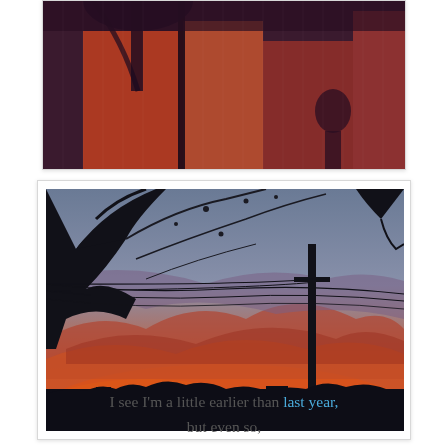[Figure (photo): A photograph of curtains or translucent fabric with orange and red sunset light shining through, casting shadows of tree branches. The overall tone is deep purple and orange.]
[Figure (photo): A photograph of a dramatic orange and purple sunset sky with silhouettes of tree branches, telephone wires, and a utility pole in the foreground. Dark rooftops visible at the bottom.]
I see I'm a little earlier than last year, but even so,